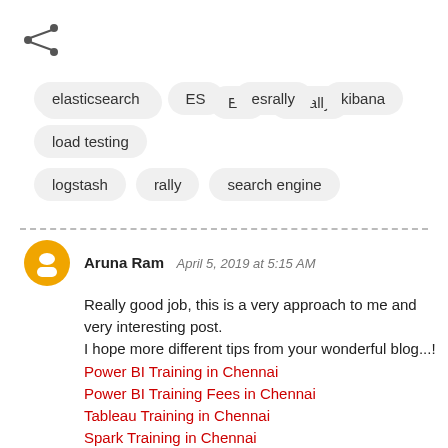[Figure (other): Share icon (less-than shaped network share icon)]
elasticsearch
ES
esrally
kibana
load testing
logstash
rally
search engine
Aruna Ram  April 5, 2019 at 5:15 AM
Really good job, this is a very approach to me and very interesting post.
I hope more different tips from your wonderful blog...!
Power BI Training in Chennai
Power BI Training Fees in Chennai
Tableau Training in Chennai
Spark Training in Chennai
Oracle Training in Chennai
Unix Training in Chennai
Oracle DBA Training in Chennai
Social Media Marketing Courses in Chennai